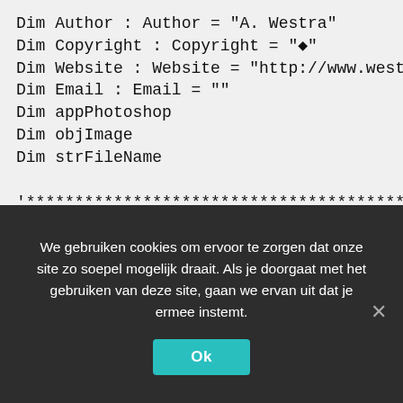Dim Author : Author = "A. Westra"
Dim Copyright : Copyright = "©"
Dim Website : Website = "http://www.westphil.nl"
Dim Email : Email = ""
Dim appPhotoshop
Dim objImage
Dim strFileName

'*************************************************
'*** Add Error Handling
on error resume Next

'*************************************************
'*** Make sure the script is started with cscript
If InStr(wscript.FullName, "wscript.exe") > 0 Then
MsgBox "Please run this script with cscript.exe."
We gebruiken cookies om ervoor te zorgen dat onze site zo soepel mogelijk draait. Als je doorgaat met het gebruiken van deze site, gaan we ervan uit dat je ermee instemt.